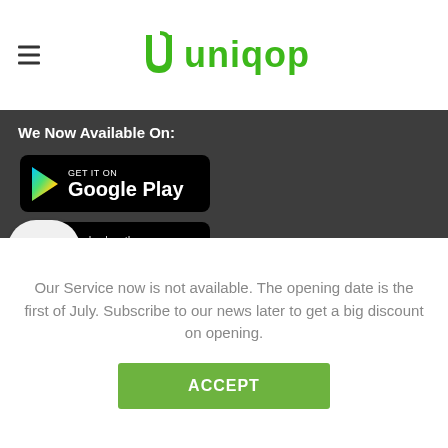Uniqop
We Now Available On:
[Figure (logo): Google Play store badge - black rounded rectangle with Google Play triangle logo and text 'GET IT ON Google Play']
[Figure (logo): Apple App Store badge - black rounded rectangle with Apple logo and text 'Download on the App Store']
[Figure (other): Chat bubble overlay with three dots indicating a loading/chat indicator]
Useful Links:
Mobile App
Our Service now is not available. The opening date is the first of July. Subscribe to our news later to get a big discount on opening.
ACCEPT